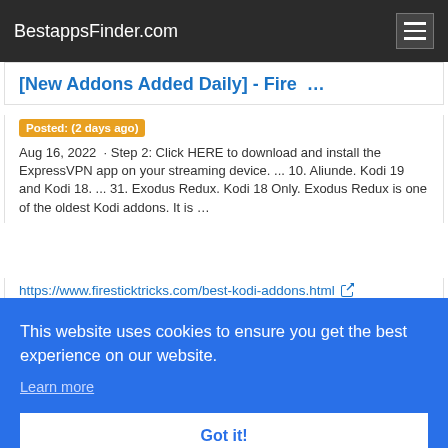BestappsFinder.com
[New Addons Added Daily] - Fire ...
Posted: (2 days ago)  Aug 16, 2022  · Step 2: Click HERE to download and install the ExpressVPN app on your streaming device. ... 10. Aliunde. Kodi 19 and Kodi 18. ... 31. Exodus Redux. Kodi 18 Only. Exodus Redux is one of the oldest Kodi addons. It is …
https://www.firesticktricks.com/best-kodi-addons.html
Apps
This website uses cookies to ensure you get the best experience on our website. Learn more Got it!
dd-on offers a huge selection of popular movies and TV shows, like